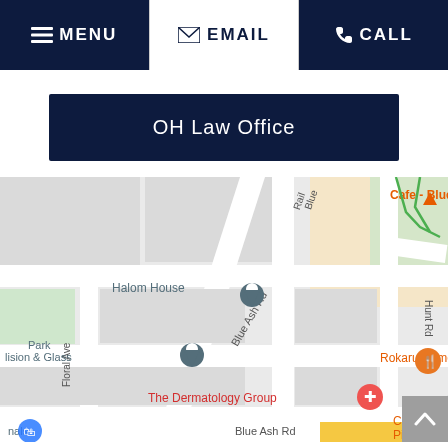MENU | EMAIL | CALL
OH Law Office
[Figure (map): Google Maps screenshot showing Blue Ash Rd area with pins for Halom House, Park Collision & Glass, Rokaru Ramen, The Dermatology Group, Catch-a-Fire Pizza - Blue Ash, Altitude B, and label for Cafe - Blue Ash. Roads include Blue Ash Rd, Floral Ave, Hunt Rd.]